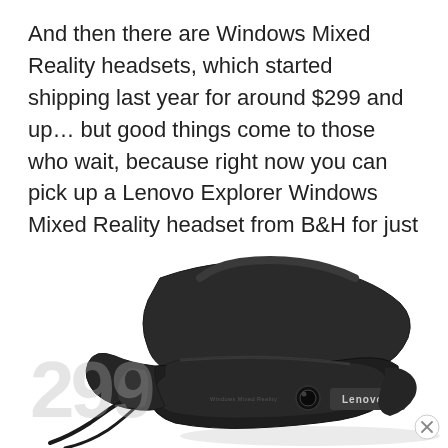And then there are Windows Mixed Reality headsets, which started shipping last year for around $299 and up… but good things come to those who wait, because right now you can pick up a Lenovo Explorer Windows Mixed Reality headset from B&H for just $95.
[Figure (photo): A Lenovo Explorer Windows Mixed Reality headset in dark grey/black, shown at an angle on a white background. The headset shows the 'Lenovo' branding on the front visor and 'Windows Mixed Reality' text. It features a curved overhead strap and cables visible.]